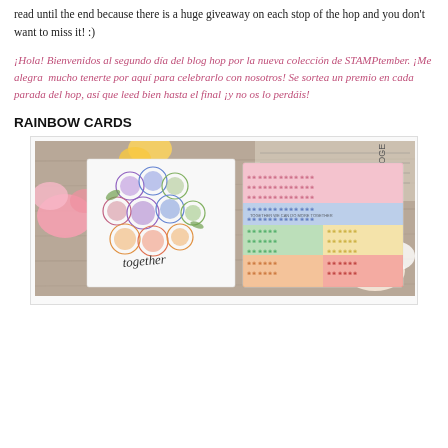read until the end because there is a huge giveaway on each stop of the hop and you don't want to miss it! :)
¡Hola! Bienvenidos al segundo día del blog hop por la nueva colección de STAMPtember. ¡Me alegra  mucho tenerte por aquí para celebrarlo con nosotros! Se sortea un premio en cada parada del hop, así que leed bien hasta el final ¡y no os lo perdáis!
RAINBOW CARDS
[Figure (photo): Photo of two handmade rainbow cards on a wooden surface with flowers. Left card shows stamped circular/ball designs in purple, blue, green, and orange with 'together' sentiment. Right card shows a dense floral pattern stamped in rainbow colors (pink, blue, green, yellow).]